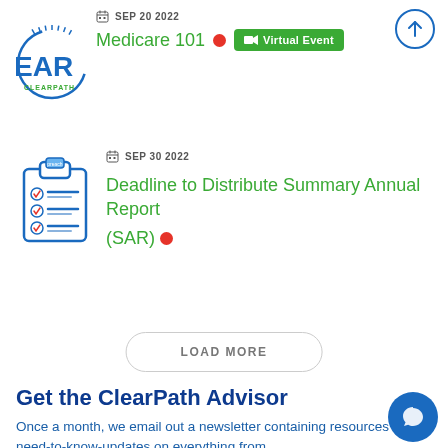[Figure (logo): ClearPath logo - partial blue arc with text CLEARPATH]
SEP 20 2022
Medicare 101  Virtual Event
[Figure (illustration): Clipboard with checklist icon]
SEP 30 2022
Deadline to Distribute Summary Annual Report (SAR)
LOAD MORE
Get the ClearPath Advisor
Once a month, we email out a newsletter containing resources and need-to-know-updates on everything from